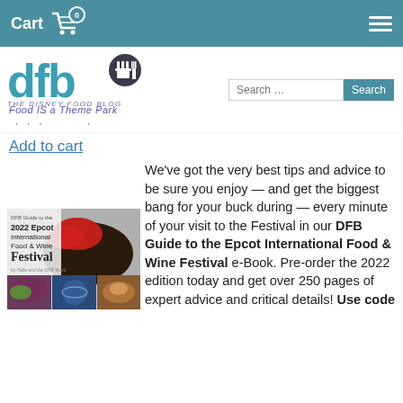Cart 0
[Figure (logo): DFB - The Disney Food Blog logo with castle and fork/knife icon. Tagline: Food IS a Theme Park]
Add to cart
[Figure (photo): DFB Guide to the 2022 Epcot International Food & Wine Festival book cover showing food images]
We've got the very best tips and advice to be sure you enjoy — and get the biggest bang for your buck during — every minute of your visit to the Festival in our DFB Guide to the Epcot International Food & Wine Festival e-Book. Pre-order the 2022 edition today and get over 250 pages of expert advice and critical details! Use code